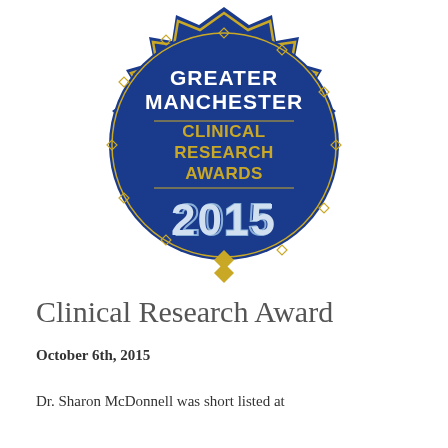[Figure (logo): Greater Manchester Clinical Research Awards 2015 badge — a dark blue starburst/medallion shape with gold geometric border details. White text reads GREATER MANCHESTER at the top; gold text reads CLINICAL RESEARCH AWARDS in the middle; silver/white text reads 2015 at the bottom.]
Clinical Research Award
October 6th, 2015
Dr. Sharon McDonnell was short listed at